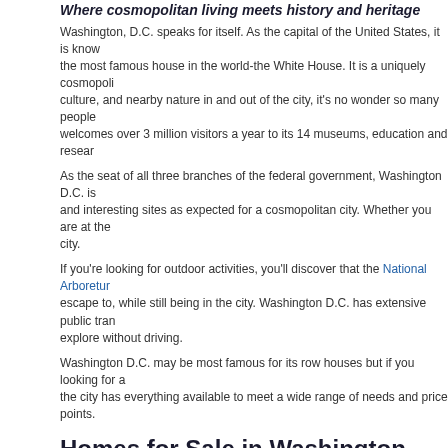Where cosmopolitan living meets history and heritage
Washington, D.C. speaks for itself. As the capital of the United States, it is known for the most famous house in the world-the White House. It is a uniquely cosmopolitan culture, and nearby nature in and out of the city, it's no wonder so many people welcomes over 3 million visitors a year to its 14 museums, education and research...
As the seat of all three branches of the federal government, Washington D.C. is and interesting sites as expected for a cosmopolitan city. Whether you are at the city.
If you're looking for outdoor activities, you'll discover that the National Arboretum escape to, while still being in the city. Washington D.C. has extensive public transportation to explore without driving.
Washington D.C. may be most famous for its row houses but if you looking for a the city has everything available to meet a wide range of needs and price points.
Homes for Sale in Washington, DC
Search Homes
Washington Real Estate Market Conditions
Median sales price
$670,000